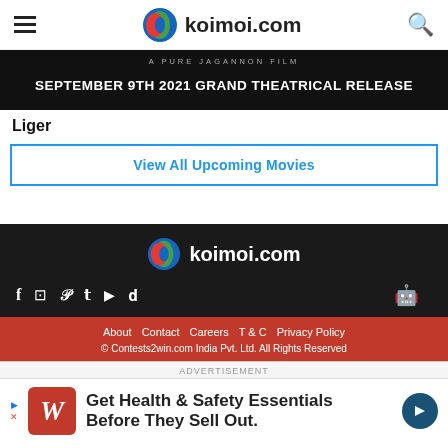koimoi.com
[Figure (photo): Movie banner with text: A Pure Jagannon Film - September 9th 2021 Grand Theatrical Release on dark background]
Liger
View All Upcoming Movies
[Figure (logo): koimoi.com footer logo with social media icons (Facebook, Instagram, Pinterest, Twitter, YouTube, Dailymotion) and app store icons (Android, Apple)]
About  Contact  Careers  T & C  Privacy Policy  © Contests2win.com India Pvt. Ltd. All Rights Reserved
ADVERTISEMENT
[Figure (photo): Walgreens advertisement: Get Health & Safety Essentials Before They Sell Out. Shows W logo and directional arrow icon.]